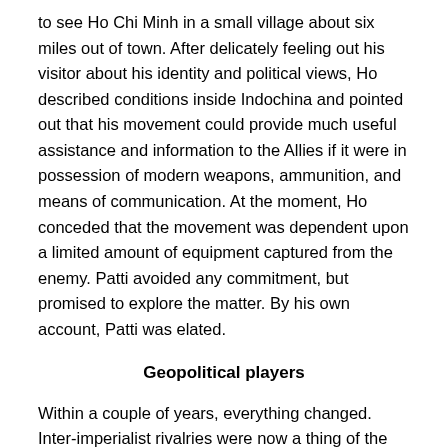to see Ho Chi Minh in a small village about six miles out of town. After delicately feeling out his visitor about his identity and political views, Ho described conditions inside Indochina and pointed out that his movement could provide much useful assistance and information to the Allies if it were in possession of modern weapons, ammunition, and means of communication. At the moment, Ho conceded that the movement was dependent upon a limited amount of equipment captured from the enemy. Patti avoided any commitment, but promised to explore the matter. By his own account, Patti was elated.
Geopolitical players
Within a couple of years, everything changed. Inter-imperialist rivalries were now a thing of the past. The US